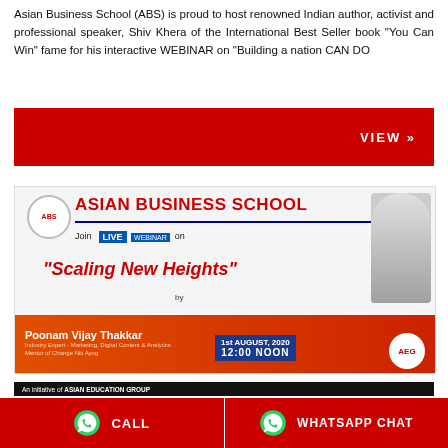Asian Business School (ABS) is proud to host renowned Indian author, activist and professional speaker, Shiv Khera of the International Best Seller book “You Can Win” fame for his interactive WEBINAR on “Building a nation CAN DO attitude...”
[Figure (infographic): Red banner with VIEW » button]
[Figure (infographic): Asian Business School advertisement poster for live webinar 'Scaling New Heights' by Poonam Vijay Thakkar on 1st August 2020 at 12:00 NOON, an initiative of Asian Education Group]
CALL | WHATSAPP CHAT